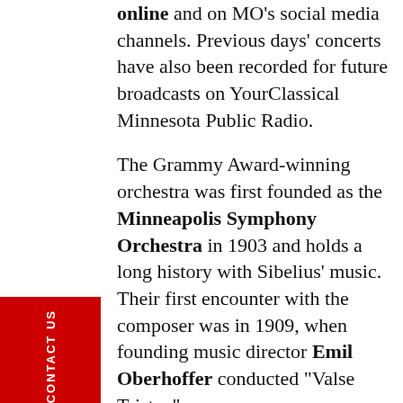online and on MO's social media channels. Previous days' concerts have also been recorded for future broadcasts on YourClassical Minnesota Public Radio.
The Grammy Award-winning orchestra was first founded as the Minneapolis Symphony Orchestra in 1903 and holds a long history with Sibelius' music. Their first encounter with the composer was in 1909, when founding music director Emil Oberhoffer conducted "Valse Triste."
When the orchestra made their first Sibelius recording of his first